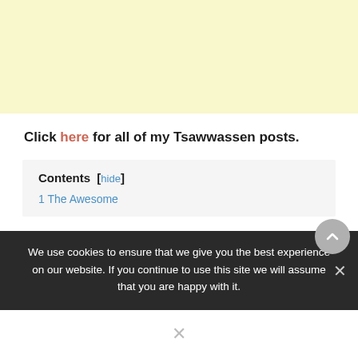[Figure (other): Light yellow advertisement banner placeholder]
Click here for all of my Tsawwassen posts.
Contents [hide]
1 The Awesome
We use cookies to ensure that we give you the best experience on our website. If you continue to use this site we will assume that you are happy with it.